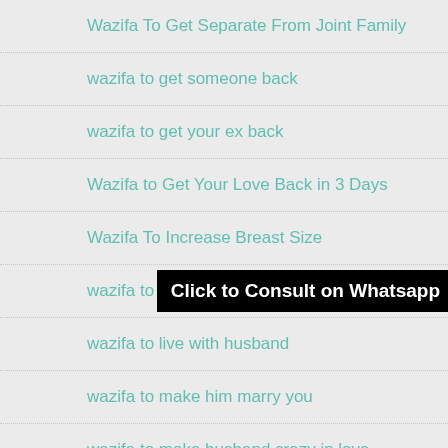Wazifa To Get Separate From Joint Family
wazifa to get someone back
wazifa to get your ex back
Wazifa to Get Your Love Back in 3 Days
Wazifa To Increase Breast Size
wazifa to keep enemy aw…
wazifa to live with husband
wazifa to make him marry you
wazifa to make husband crazy in love
Wazifa to make someone fall in love with you